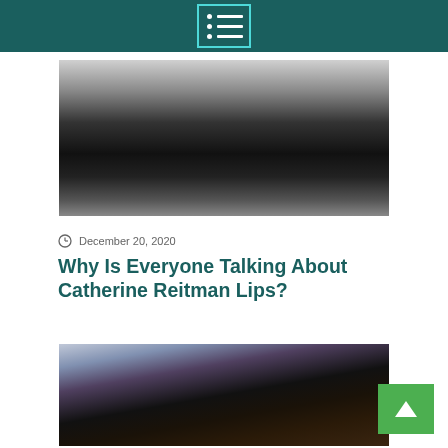Menu icon / navigation header
[Figure (photo): Black and white photo of a person with long dark hair wearing a black jacket]
December 20, 2020
Why Is Everyone Talking About Catherine Reitman Lips?
[Figure (photo): Color photo of a man (resembling Elon Musk) in a brown leather jacket holding a microphone, looking upward, with a blurred purple/dark background]